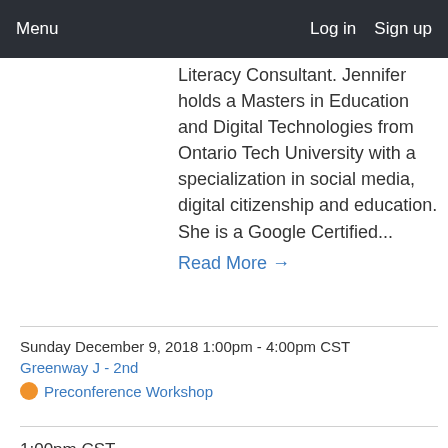Menu   Log in   Sign up
Literacy Consultant. Jennifer holds a Masters in Education and Digital Technologies from Ontario Tech University with a specialization in social media, digital citizenship and education. She is a Google Certified...
Read More →
Sunday December 9, 2018 1:00pm - 4:00pm CST
Greenway J - 2nd
Preconference Workshop
1:00pm CST